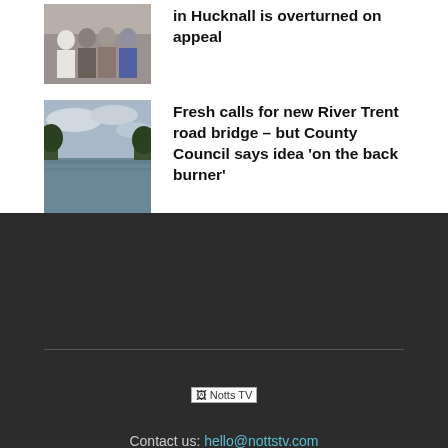in Hucknall is overturned on appeal
[Figure (photo): Group of people standing outside a building]
[Figure (photo): River Trent landscape with cloudy sky and trees]
Fresh calls for new River Trent road bridge – but County Council says idea 'on the back burner'
[Figure (logo): Notts TV logo]
Contact us: hello@nottstv.com